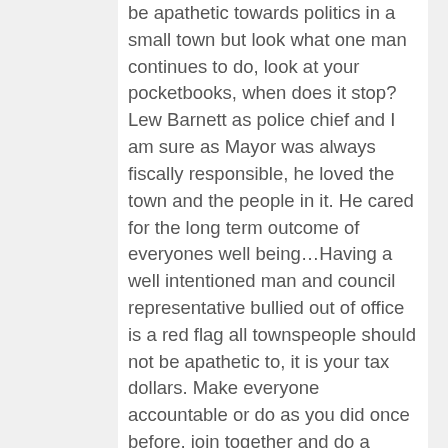be apathetic towards politics in a small town but look what one man continues to do, look at your pocketbooks, when does it stop? Lew Barnett as police chief and I am sure as Mayor was always fiscally responsible, he loved the town and the people in it. He cared for the long term outcome of everyones well being...Having a well intentioned man and council representative bullied out of office is a red flag all townspeople should not be apathetic to, it is your tax dollars. Make everyone accountable or do as you did once before, join together and do a recall, time to clean up the towns politics and make them more reflective of the real Town of Stevensville, a caring and giving community of loving people.